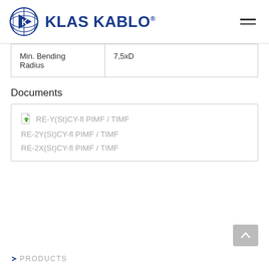[Figure (logo): Klas Kablo logo with globe icon and blue text]
| Min. Bending Radius | 7,5xD |
Documents
RE-Y(St)CY-fl PIMF / TIMF
RE-2Y(St)CY-fl PIMF / TIMF
RE-2X(St)CY-fl PIMF / TIMF
PRODUCTS